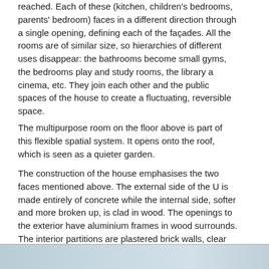reached. Each of these (kitchen, children's bedrooms, parents' bedroom) faces in a different direction through a single opening, defining each of the façades. All the rooms are of similar size, so hierarchies of different uses disappear: the bathrooms become small gyms, the bedrooms play and study rooms, the library a cinema, etc. They join each other and the public spaces of the house to create a fluctuating, reversible space.
The multipurpose room on the floor above is part of this flexible spatial system. It opens onto the roof, which is seen as a quieter garden.
The construction of the house emphasises the two faces mentioned above. The external side of the U is made entirely of concrete while the internal side, softer and more broken up, is clad in wood. The openings to the exterior have aluminium frames in wood surrounds. The interior partitions are plastered brick walls, clear glazing and lacquered doors. The roofs are solid concrete slabs and the continuous timber floors contain all the service installations: plumbing, electrical, voice and data cabling and radiant floor heating.
[Figure (photo): A partial image strip at the bottom of the page showing what appears to be a light blue/grey architectural or landscape photograph, partially visible.]